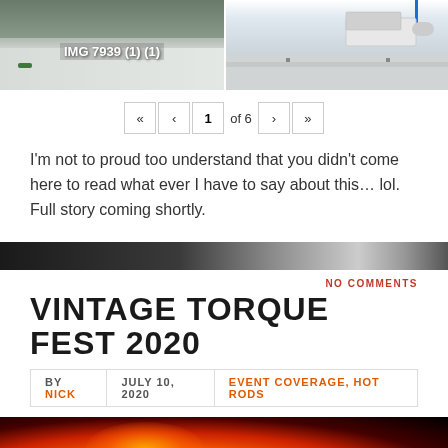[Figure (photo): Two side-by-side photos of salt flat racing scenes. Left photo shows salt flats with mountains and has label 'IMG 7939 (1) (1)'. Right photo shows a white truck on salt flats with a blue vertical element.]
« ‹ 1 of 6 › »
I'm not to proud too understand that you didn't come here to read what ever I have to say about this… lol. Full story coming shortly.
[Figure (photo): Dark horizontal strip of automotive/racing imagery]
NO COMMENTS
VINTAGE TORQUE FEST 2020
BY NICK  JULY 10, 2020  EVENT COVERAGE, HOT RODS
[Figure (photo): Dark photo with fire/explosion on a dark background — automotive event fireball shot]